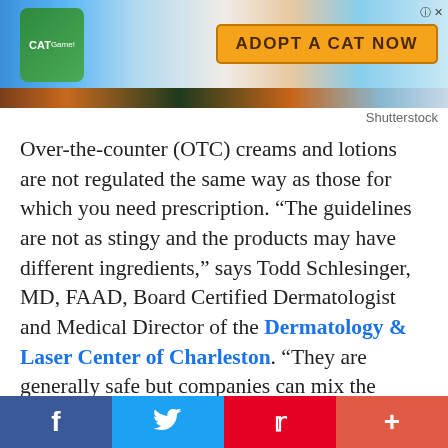[Figure (screenshot): Advertisement banner for a mobile game 'Cat Game' with text 'ADOPT A CAT NOW' on an orange background, with cartoon cat characters and a close button.]
Shutterstock
Over-the-counter (OTC) creams and lotions are not regulated the same way as those for which you need prescription. “The guidelines are not as stingy and the products may have different ingredients,” says Todd Schlesinger, MD, FAAD, Board Certified Dermatologist and Medical Director of the Dermatology & Laser Center of Charleston. “They are generally safe but companies can mix the ingredients any way they like.” Buy from a reputable company, he adds.
[Figure (infographic): Social media share bar with Facebook (blue), Twitter (light blue), Pinterest (red), and a plus button (orange-red).]